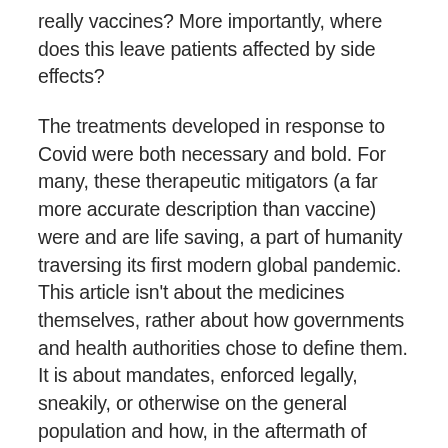really vaccines? More importantly, where does this leave patients affected by side effects?
The treatments developed in response to Covid were both necessary and bold. For many, these therapeutic mitigators (a far more accurate description than vaccine) were and are life saving, a part of humanity traversing its first modern global pandemic. This article isn't about the medicines themselves, rather about how governments and health authorities chose to define them. It is about mandates, enforced legally, sneakily, or otherwise on the general population and how, in the aftermath of these mandates, hundreds of thousands, perhaps millions of patients, suffering from listed and unlisted side effects, are left with no where to turn. No recourse.